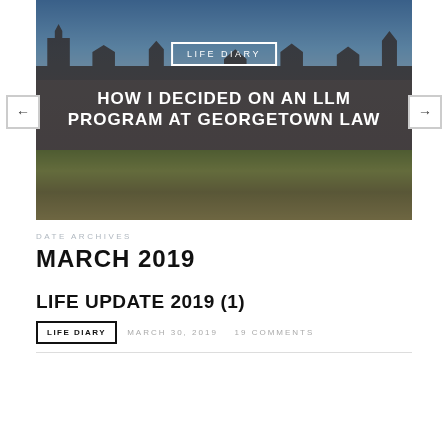[Figure (photo): A photograph of Georgetown University's iconic Healy Hall building with Gothic architecture, taken on a partly cloudy day with a green lawn in the foreground. A person is visible in the foreground. Overlaid with text including a 'LIFE DIARY' badge and the article title, plus navigation arrows on either side.]
DATE ARCHIVES
MARCH 2019
LIFE UPDATE 2019 (1)
LIFE DIARY   MARCH 30, 2019   19 COMMENTS